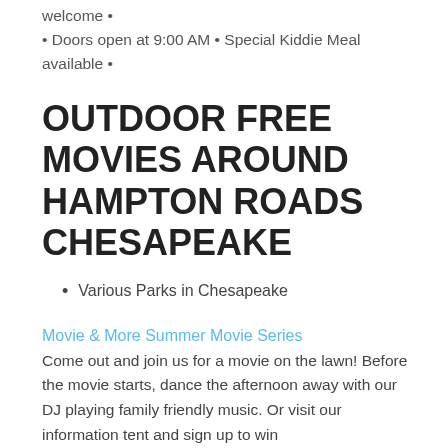welcome •
• Doors open at 9:00 AM • Special Kiddie Meal available •
OUTDOOR FREE MOVIES AROUND HAMPTON ROADS CHESAPEAKE
Various Parks in Chesapeake
Movie & More Summer Movie Series
Come out and join us for a movie on the lawn! Before the movie starts, dance the afternoon away with our DJ playing family friendly music. Or visit our information tent and sign up to win